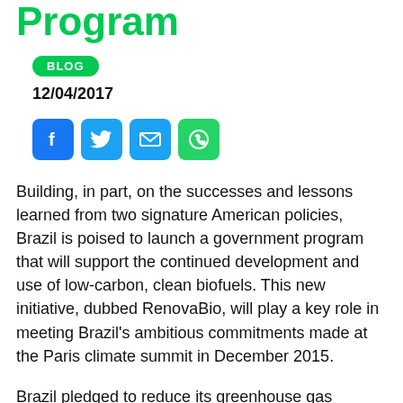Program
BLOG
12/04/2017
[Figure (other): Social sharing icons: Facebook (blue), Twitter (blue), Email (blue), WhatsApp (green)]
Building, in part, on the successes and lessons learned from two signature American policies, Brazil is poised to launch a government program that will support the continued development and use of low-carbon, clean biofuels. This new initiative, dubbed RenovaBio, will play a key role in meeting Brazil's ambitious commitments made at the Paris climate summit in December 2015.
Brazil pledged to reduce its greenhouse gas